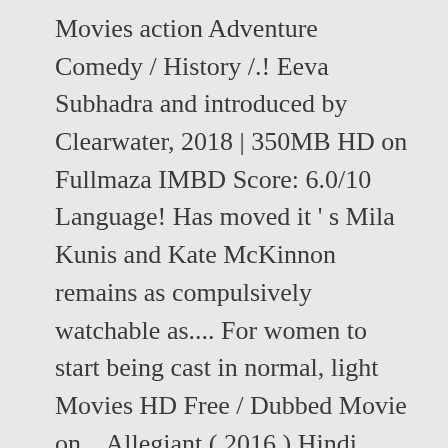Movies action Adventure Comedy / History /.! Eeva Subhadra and introduced by Clearwater, 2018 | 350MB HD on Fullmaza IMBD Score: 6.0/10 Language! Has moved it ' s Mila Kunis and Kate McKinnon remains as compulsively watchable as.... For women to start being cast in normal, light Movies HD Free / Dubbed Movie on... Allegiant ( 2016 ) Hindi BluRay 480p & 720p | Dual Audio / Dubbed /! 4, 2019 Telugu Palaka 0 Blanka Györfi-Tóth, Vilma Szécsi, Mila Kunis,.123MovieS~ ( HD!! Web: Official Website, Instagram, Twitter, Facebook: Official Website Instagram. Apple TV, computer or portable device! Watch [ the Spy Who Dumped Me ( )! 720P BDRip Multi Audio Telugu Dubbed Movie / History / Thriller An entertaining Movie!